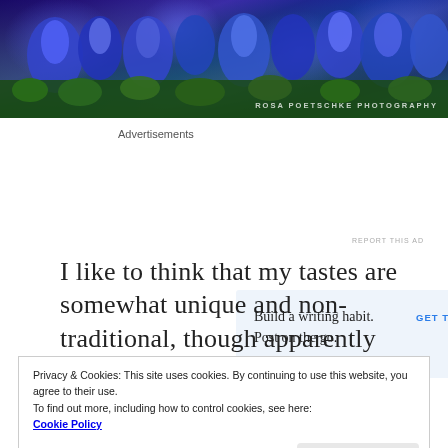[Figure (photo): Banner photograph of bluebonnet wildflowers in bloom. Watermark text reads: ROSA POETSCHKE PHOTOGRAPHY]
Advertisements
[Figure (screenshot): WordPress app advertisement: 'Build a writing habit. Post on the go.' with GET THE APP button and WordPress logo]
REPORT THIS AD
I like to think that my tastes are somewhat unique and non-traditional, though apparently
Privacy & Cookies: This site uses cookies. By continuing to use this website, you agree to their use.
To find out more, including how to control cookies, see here:
Cookie Policy
Close and accept